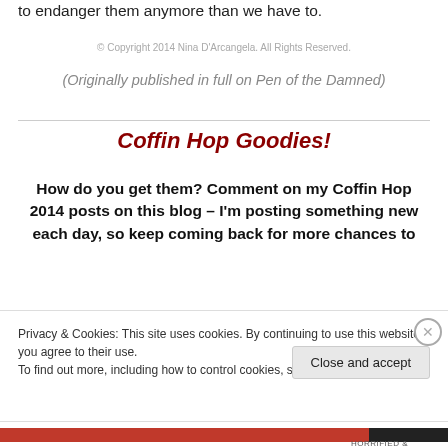to endanger them anymore than we have to.
© Copyright 2014 Nina D'Arcangela. All Rights Reserved.
(Originally published in full on Pen of the Damned)
Coffin Hop Goodies!
How do you get them? Comment on my Coffin Hop 2014 posts on this blog – I'm posting something new each day, so keep coming back for more chances to
Privacy & Cookies: This site uses cookies. By continuing to use this website, you agree to their use.
To find out more, including how to control cookies, see here: Cookie Policy
Close and accept